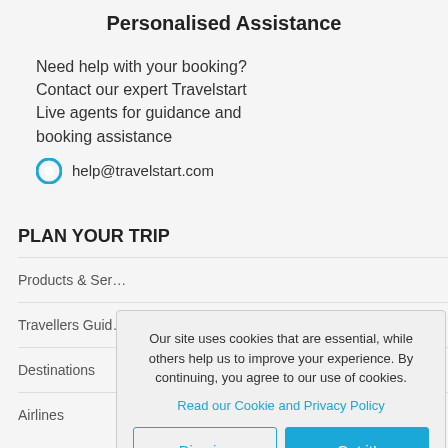Personalised Assistance
Need help with your booking? Contact our expert Travelstart Live agents for guidance and booking assistance
help@travelstart.com
PLAN YOUR TRIP
Products & Ser…
Travellers Guid…
Destinations
Airlines
Our site uses cookies that are essential, while others help us to improve your experience. By continuing, you agree to our use of cookies.
Read our Cookie and Privacy Policy
Dismiss
Got it!